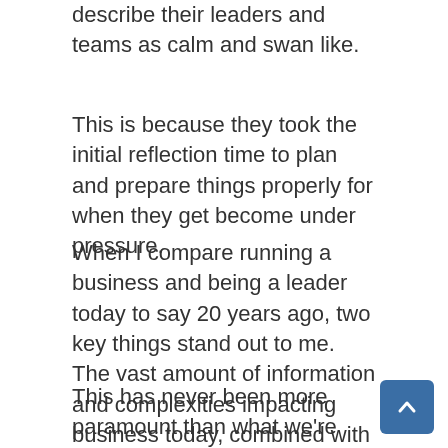describe their leaders and teams as calm and swan like.
This is because they took the initial reflection time to plan and prepare things properly for when they get become under pressure.
When I compare running a business and being a leader today to say 20 years ago, two key things stand out to me. The vast amount of information and complexities impacting business today, combined with the speed that everything is moving at.
This has never been more paramount than what we're now going through. Although that has its positives with progress happening, I often ref… creates a lot more challenges for both leaders and organisations. The human mind doesn't work as…